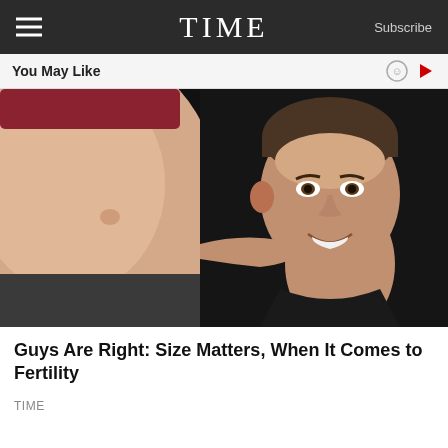TIME   Subscribe
You May Like
[Figure (photo): A pregnant woman's belly in close-up on the left, and a smiling man leaning his face against the belly on the right, against a dark background.]
Guys Are Right: Size Matters, When It Comes to Fertility
TIME